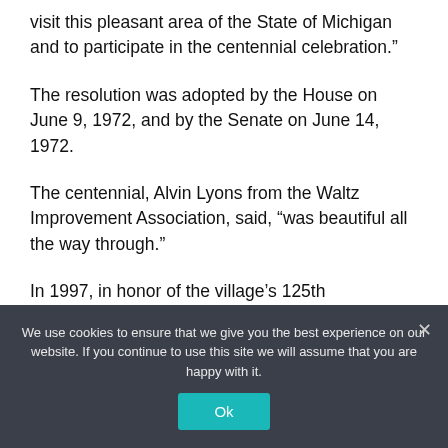visit this pleasant area of the State of Michigan and to participate in the centennial celebration.”
The resolution was adopted by the House on June 9, 1972, and by the Senate on June 14, 1972.
The centennial, Alvin Lyons from the Waltz Improvement Association, said, “was beautiful all the way through.”
In 1997, in honor of the village’s 125th
We use cookies to ensure that we give you the best experience on our website. If you continue to use this site we will assume that you are happy with it.